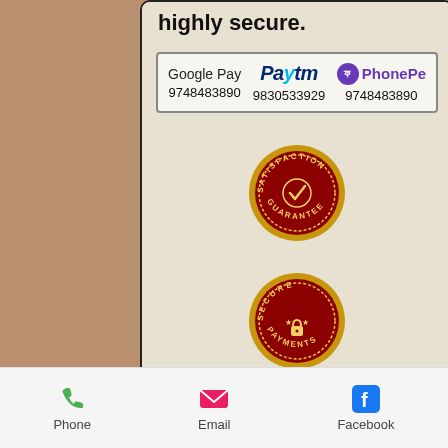highly secure.
| Google Pay | Paytm | PhonePe |
| --- | --- | --- |
| 9748483890 | 9830533929 | 9748483890 |
[Figure (illustration): Satisfaction Guarantee badge - circular red and gold seal with checkmark]
[Figure (illustration): Secure Payments badge - circular red and gold seal with padlock icon]
[Figure (illustration): We Accept MasterCard badge - circular red and gold seal]
Phone   Email   Facebook